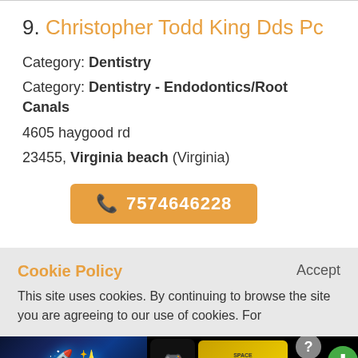9. Christopher Todd King Dds Pc
Category: Dentistry
Category: Dentistry - Endodontics/Root Canals
4605 haygood rd
23455, Virginia beach (Virginia)
7574646228
Cookie Policy
Accept
This site uses cookies. By continuing to browse the site you are agreeing to our use of cookies. For
[Figure (screenshot): Advertisement banner with space shooter game]